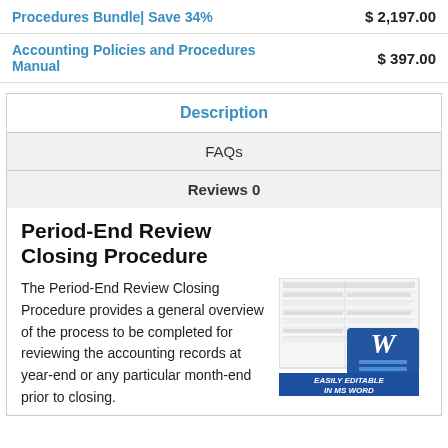| Product | Price |
| --- | --- |
| Procedures Bundle| Save 34% | $ 2,197.00 |
| Accounting Policies and Procedures Manual | $ 397.00 |
Description
FAQs
Reviews 0
Period-End Review Closing Procedure
[Figure (illustration): A document preview image showing a table/spreadsheet with a blue Word document icon overlay, labeled 'EASILY EDITABLE IN MS WORD']
The Period-End Review Closing Procedure provides a general overview of the process to be completed for reviewing the accounting records at year-end or any particular month-end prior to closing.